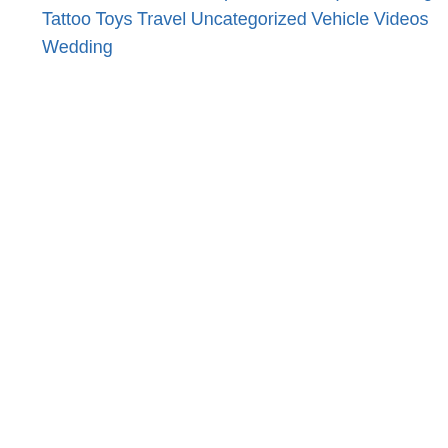Music
Pets
Photo Dump
Plush
Sex
Sports
Strange
Tattoo
Toys
Travel
Uncategorized
Vehicle
Videos
Wedding